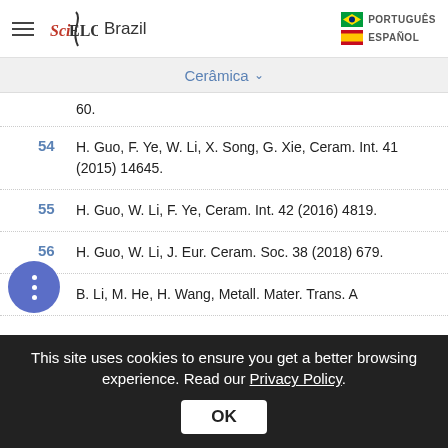SciELO Brazil | PORTUGUÊS | ESPAÑOL
Cerâmica
60.
54  H. Guo, F. Ye, W. Li, X. Song, G. Xie, Ceram. Int. 41 (2015) 14645.
55  H. Guo, W. Li, F. Ye, Ceram. Int. 42 (2016) 4819.
56  H. Guo, W. Li, J. Eur. Ceram. Soc. 38 (2018) 679.
57  B. Li, M. He, H. Wang, Metall. Mater. Trans. A
This site uses cookies to ensure you get a better browsing experience. Read our Privacy Policy.  OK